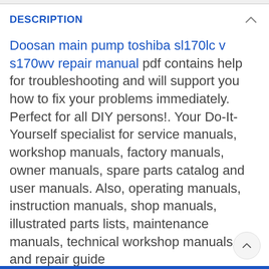DESCRIPTION
Doosan main pump toshiba sl170lc v s170wv repair manual pdf contains help for troubleshooting and will support you how to fix your problems immediately. Perfect for all DIY persons!. Your Do-It-Yourself specialist for service manuals, workshop manuals, factory manuals, owner manuals, spare parts catalog and user manuals. Also, operating manuals, instruction manuals, shop manuals, illustrated parts lists, maintenance manuals, technical workshop manuals, and repair guide